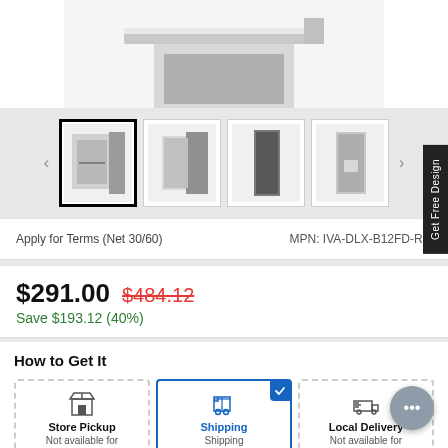[Figure (photo): Product image area showing a cabinet with open door, top portion cropped]
[Figure (photo): Thumbnail strip with 4 product images and navigation arrows. First thumbnail selected (black border). Shows cabinet from various angles.]
Apply for Terms (Net 30/60)
MPN: IVA-DLX-B12FD-RG
$291.00  $484.12
Save $193.12 (40%)
How to Get It
Store Pickup
Not available for
Shipping
Shipping
Local Delivery
Not available for